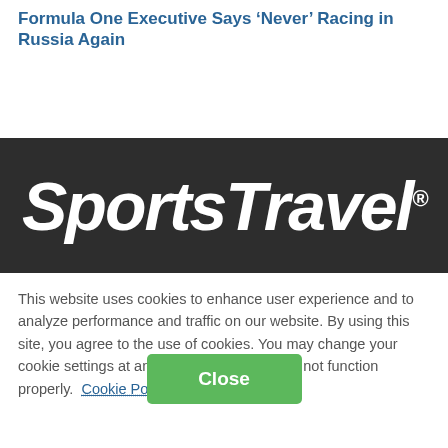Formula One Executive Says ‘Never’ Racing in Russia Again
[Figure (logo): SportsTravel logo in white italic bold text on a dark charcoal/black background banner]
This website uses cookies to enhance user experience and to analyze performance and traffic on our website. By using this site, you agree to the use of cookies. You may change your cookie settings at any time, but the site may not function properly.  Cookie Policy
Close